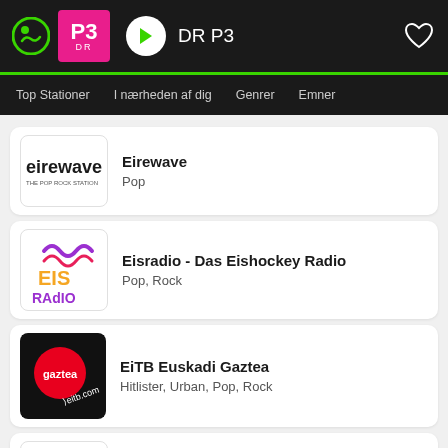DR P3
Top Stationer  I nærheden af dig  Genrer  Emner
Eirewave
Pop
Eisradio - Das Eishockey Radio
Pop, Rock
EiTB Euskadi Gaztea
Hitlister, Urban, Pop, Rock
EiTB Musika
Pop